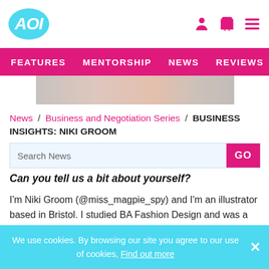AOI - Features, Mentorship, News, Reviews
News / Business and Negotiation Series / BUSINESS INSIGHTS: NIKI GROOM
[Figure (photo): Partial hero image showing cropped photograph of a person]
Search News
Can you tell us a bit about yourself?
I'm Niki Groom (@miss_magpie_spy) and I'm an illustrator based in Bristol. I studied BA Fashion Design and was a designer for over 15 years before becoming a full-time illustrator 3 years ago (I did both alongside each other for a
We use cookies. By browsing our site you agree to our use of cookies, Find out more